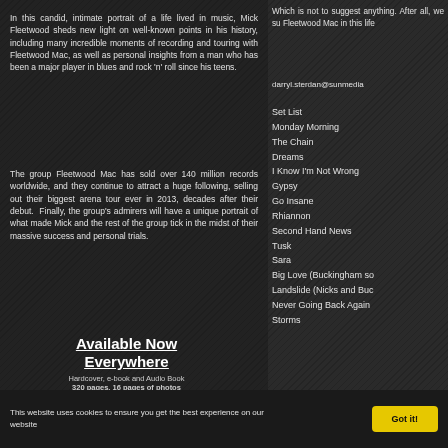In this candid, intimate portrait of a life lived in music, Mick Fleetwood sheds new light on well-known points in his history, including many incredible moments of recording and touring with Fleetwood Mac, as well as personal insights from a man who has been a major player in blues and rock 'n' roll since his teens.
The group Fleetwood Mac has sold over 140 million records worldwide, and they continue to attract a huge following, selling out their biggest arena tour ever in 2013, decades after their debut. Finally, the group's admirers will have a unique portrait of what made Mick and the rest of the group tick in the midst of their massive success and personal trials.
Available Now Everywhere
Hardcover, e-book and Audio Book
320 pages, 16 pages of photos
Publisher: Little, Brown and Company
Which is not to suggest anything. After all, we su Fleetwood Mac in this life
darryl.sterdan@sunmedia
Set List
Monday Morning
The Chain
Dreams
I Know I'm Not Wrong
Gypsy
Go Insane
Rhiannon
Second Hand News
Tusk
Sara
Big Love (Buckingham so
Landslide (Nicks and Buc
Never Going Back Again
Storms
This website uses cookies to ensure you get the best experience on our website
Got it!